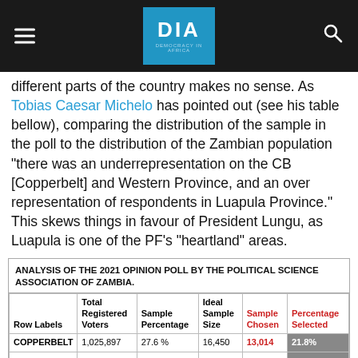DIA — Democracy in Africa
different parts of the country makes no sense. As Tobias Caesar Michelo has pointed out (see his table bellow), comparing the distribution of the sample in the poll to the distribution of the Zambian population "there was an underrepresentation on the CB [Copperbelt] and Western Province, and an over representation of respondents in Luapula Province." This skews things in favour of President Lungu, as Luapula is one of the PF's "heartland" areas.
| Row Labels | Total Registered Voters | Sample Percentage | Ideal Sample Size | Sample Chosen | Percentage Selected |
| --- | --- | --- | --- | --- | --- |
| COPPERBELT | 1,025,897 | 27.6 % | 16,450 | 13,014 | 21.8% |
| EASTERN | 896,339 | 24.1 % | 14,373 | 14,324 | 24.0% |